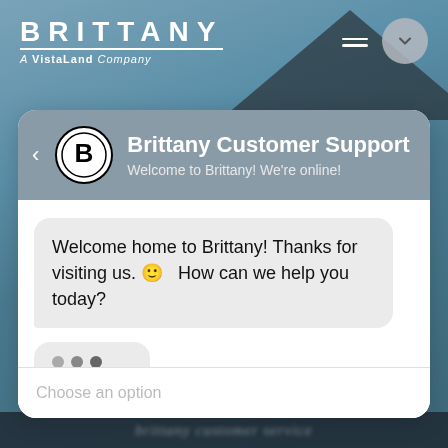[Figure (screenshot): Brittany A VistaLand Company website header with logo and navigation icons over a house background]
Brittany Customer Support
Welcome to Brittany! We're online!
Welcome home to Brittany! Thanks for visiting us. 🙂  How can we help you today?
Choose an option